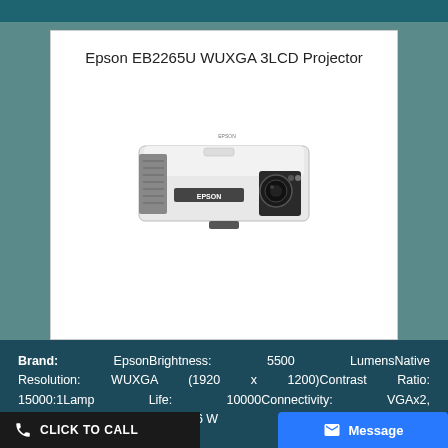Epson EB2265U WUXGA 3LCD Projector
[Figure (photo): Epson EB2265U WUXGA 3LCD Projector — front/side view showing white body with ventilation grille on left, EPSON branding, lens on right, black base.]
Brand: EpsonBrightness: 5500 LumensNative Resolution: WUXGA (1920 x 1200)Contrast Ratio: 15000:1Lamp Life: 10000Connectivity: VGAx2, HDMIVideo & Audio I/P & O/P, 16 W